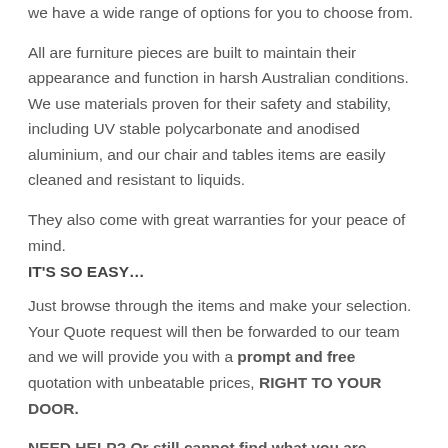we have a wide range of options for you to choose from.
All are furniture pieces are built to maintain their appearance and function in harsh Australian conditions. We use materials proven for their safety and stability, including UV stable polycarbonate and anodised aluminium, and our chair and tables items are easily cleaned and resistant to liquids.
They also come with great warranties for your peace of mind.
IT'S SO EASY…
Just browse through the items and make your selection. Your Quote request will then be forwarded to our team and we will provide you with a prompt and free quotation with unbeatable prices, RIGHT TO YOUR DOOR.
NEED HELP? Or still cannot find what you are